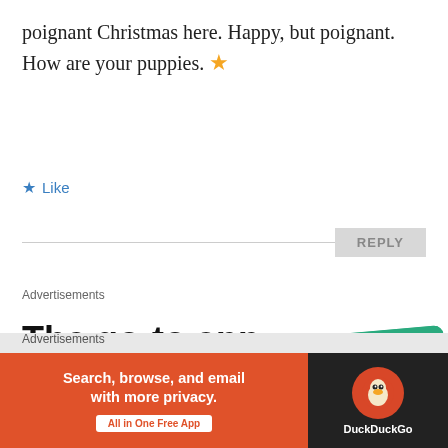poignant Christmas here. Happy, but poignant. How are your puppies. ⭐
★ Like
REPLY
Advertisements
[Figure (screenshot): Advertisement for a podcast app: 'The go-to app for podcast lovers. Download now' with decorative phone cards showing a black card with yellow square and SIBLE text, and a green card.]
Advertisements
[Figure (screenshot): DuckDuckGo advertisement: 'Search, browse, and email with more privacy. All in One Free App' on orange background with DuckDuckGo logo on dark background.]